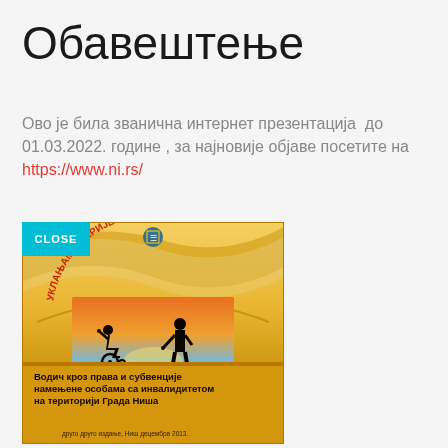Обавештење
Ово је била званична интернет презентација  до 01.03.2022. године , за најновије објаве посетите на https://www.ni.rs/
[Figure (illustration): Book cover titled 'Водич кроз права и субвенције намењене особама са инвалидитетом на територији Града Ниша' with golden background, silhouettes of a person in wheelchair and standing person reaching hands, text 'УКЛАЊАМО БАРИЈЕРЕ...' in arc at top, city emblem at top, and subtitle at bottom 'друго  друго издање, Ниш   децембра 2013.']